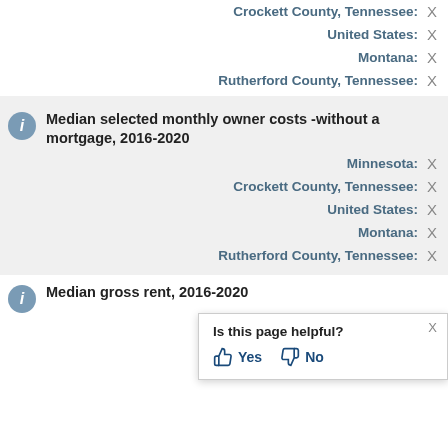Crockett County, Tennessee: X
United States: X
Montana: X
Rutherford County, Tennessee: X
Median selected monthly owner costs -without a mortgage, 2016-2020
Minnesota: X
Crockett County, Tennessee: X
United States: X
Montana: X
Rutherford County, Tennessee: X
Median gross rent, 2016-2020
Minnesota: X
Crockett County, Tennessee: X
United States: X
Is this page helpful? Yes No